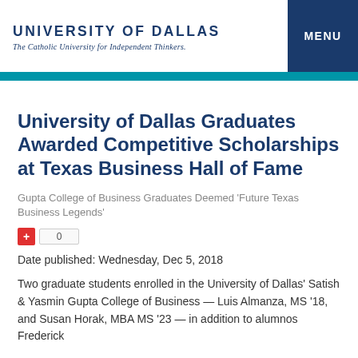UNIVERSITY OF DALLAS
The Catholic University for Independent Thinkers.
University of Dallas Graduates Awarded Competitive Scholarships at Texas Business Hall of Fame
Gupta College of Business Graduates Deemed 'Future Texas Business Legends'
Date published: Wednesday, Dec 5, 2018
Two graduate students enrolled in the University of Dallas' Satish & Yasmin Gupta College of Business — Luis Almanza, MS '18, and Susan Horak, MBA MS '23 — in addition to alumnos Frederick